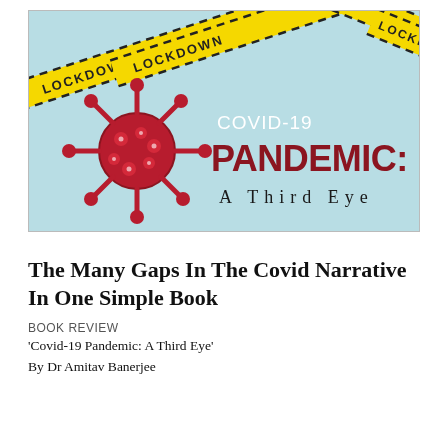[Figure (photo): Book cover of 'COVID-19 Pandemic: A Third Eye' showing a red coronavirus illustration, the book title in dark red and white text on a light blue background, with yellow caution tape strips across the top reading 'LOCKDOWN'.]
The Many Gaps In The Covid Narrative In One Simple Book
BOOK REVIEW
'Covid-19 Pandemic: A Third Eye'
By Dr Amitav Banerjee